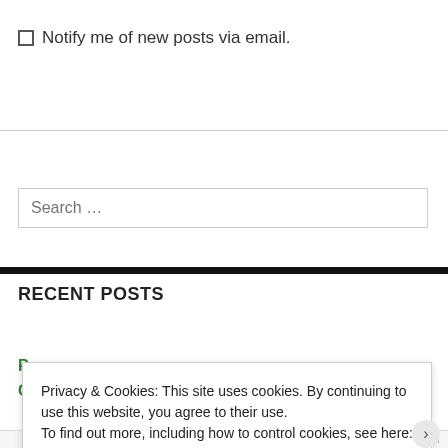Notify me of new posts via email.
Search ...
RECENT POSTS
Saturday Mornings
Privacy & Cookies: This site uses cookies. By continuing to use this website, you agree to their use.
To find out more, including how to control cookies, see here: Cookie Policy
Close and accept
WORDPRESS.COM